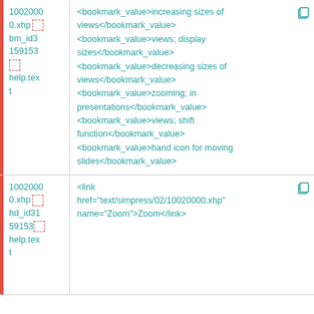1002000
0.xhp
bm_id3
159153
help.text | <bookmark_value>increasing sizes of views</bookmark_value>
<bookmark_value>views; display sizes</bookmark_value>
<bookmark_value>decreasing sizes of views</bookmark_value>
<bookmark_value>zooming; in presentations</bookmark_value>
<bookmark_value>views; shift function</bookmark_value>
<bookmark_value>hand icon for moving slides</bookmark_value>
1002000
0.xhp
hd_id31
59153
help.text | <link href="text/simpress/02/10020000.xhp" name="Zoom">Zoom</link>